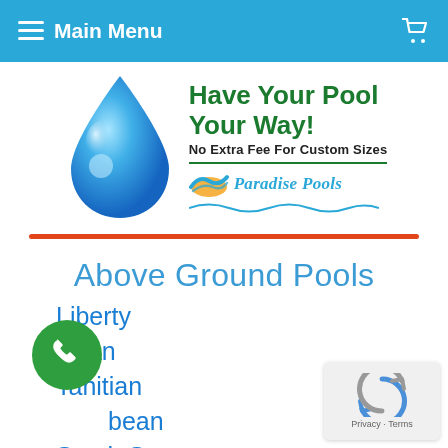Main Menu
[Figure (logo): Paradise Pools logo with water drop and text 'Have Your Pool Your Way! No Extra Fee For Custom Sizes' and Paradise Pools branding with wave graphic]
Above Ground Pools
Liberty
Fijian
Tahitian
Caribbean
South Seas